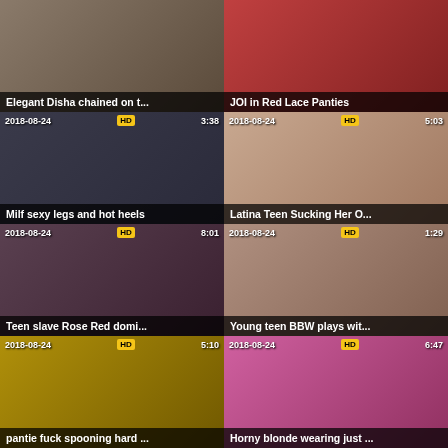[Figure (screenshot): Video thumbnail grid - adult video website listing with 8 visible video thumbnails in a 2-column layout]
Elegant Disha chained on t...
JOI in Red Lace Panties
Milf sexy legs and hot heels
Latina Teen Sucking Her O...
Teen slave Rose Red domi...
Young teen BBW plays wit...
pantie fuck spooning hard ...
Horny blonde wearing just ...